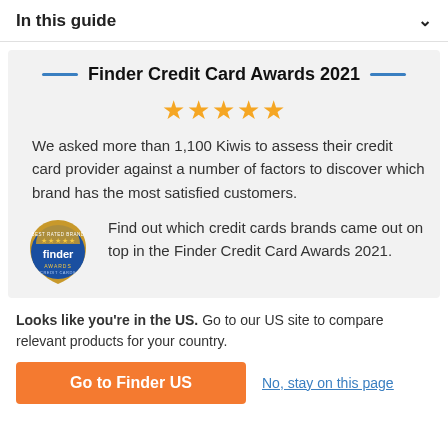In this guide
Finder Credit Card Awards 2021
We asked more than 1,100 Kiwis to assess their credit card provider against a number of factors to discover which brand has the most satisfied customers.
[Figure (logo): Finder Awards badge — Best Rated Brand, Credit Cards, 2021, with gold stars on blue background]
Find out which credit cards brands came out on top in the Finder Credit Card Awards 2021.
Looks like you're in the US. Go to our US site to compare relevant products for your country.
Go to Finder US
No, stay on this page